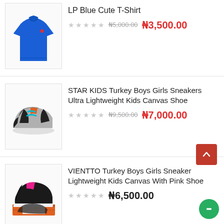[Figure (photo): Blue polo t-shirt product image]
LP Blue Cute T-Shirt
₦5,000.00 ₦3,500.00 (sale price)
[Figure (photo): Grey kids sneakers with teal and orange accents]
STAR KIDS Turkey Boys Girls Sneakers Ultra Lightweight Kids Canvas Shoe
₦9,500.00 ₦7,000.00 (sale price)
[Figure (photo): Black kids sneakers with pink accents on orange box]
VIENTTO Turkey Boys Girls Sneaker Lightweight Kids Canvas With Pink Shoe
₦6,500.00
[Figure (photo): Partial product image placeholder for sandal]
SIRINGENC Turkey Girls Cover Cute Sandal